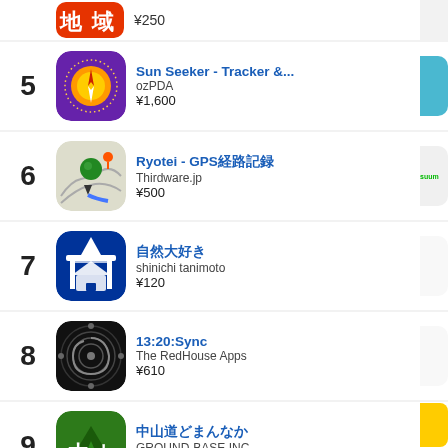4 (partial) — ¥250
5 — Sun Seeker - Tracker &... — ozPDA — ¥1,600
6 — Ryotei - GPS経路記録 — Thirdware.jp — ¥500
7 — 自然大好き — shinichi tanimoto — ¥120
8 — 13:20:Sync — The RedHouse Apps — ¥610
9 — 中山道どまんなか — GROUND-BASE INC — ¥490
10 — 地図+ - 地図を楽しむ... — IMPATH Inc.
[Figure (screenshot): Right column showing app rankings 5-10 with partial app icons cut off at right edge]